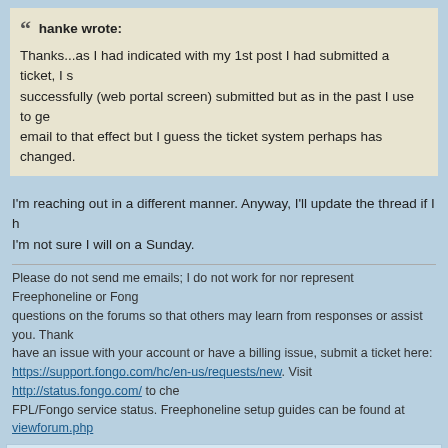hanke wrote: Thanks...as I had indicated with my 1st post I had submitted a ticket, I s... successfully (web portal screen) submitted but as in the past I use to ge... email to that effect but I guess the ticket system perhaps has changed.
I'm reaching out in a different manner. Anyway, I'll update the thread if I h... I'm not sure I will on a Sunday.
Please do not send me emails; I do not work for nor represent Freephoneline or Fong... questions on the forums so that others may learn from responses or assist you. Thank... have an issue with your account or have a billing issue, submit a ticket here: https://support.fongo.com/hc/en-us/requests/new. Visit http://status.fongo.com/ to che... FPL/Fongo service status. Freephoneline setup guides can be found at viewforum.php...
Re: Voip.freephoneline.ca Server- Calls go to voicemail
by suretma » 04/11/2021
FYI, I have have the same issue. I switched to voip2 and although the ca... go straight to voicemail, if I pick up the call, it hangs up after 2 seconds. V... voip4 and report back.
Re: Voip.freephoneline.ca Server- Calls go to voicemail